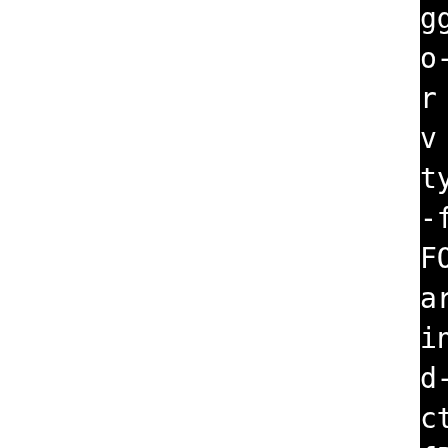ggdb -pthread -Wall -Wsign-o-unknown-pragmas -Winvalid-r -pipe -fno-builtin-memcmv -pipe -Wformat -Werror=ty -gdwarf-4 -fno-debug-ty-fvar-tracking-assignmentsFORTIFY_SOURCE=2 -fstack-param=ssp-buffer-size=4 -fcinter -march=i486 -fasynchd-tables -gdwarf-4 -fno-dection -fvar-tracking-assigfPIC -D_SCONS -DMONGO_EXPOSUPPORT_UTF8 -D_FILE_OFFSBXP_UNIX -DMONGO_HAVE_HEADEDMONGO_HAVE_EXECINFO_BACKTd/linux2/cxx_i486-pld-linuib_pcrecpp_pcre_snappy/useusev8 -Isrc -Ibuild/linux2d-linux-g++/extralib_pcrecpy/use-system-all/usev8/mcngo -I/tmp/B.dd852db4-a3d193f936df352/BUILD/v8/incluo/util/concurrency/spin_lci486-pld-linux-g++ -o buil